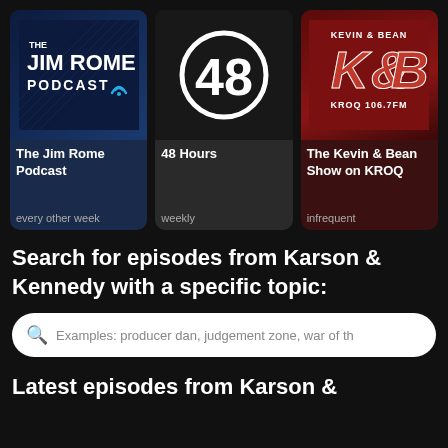[Figure (screenshot): Three podcast/show cards in a horizontal row: The Jim Rome Podcast (dark blue background with Jim Rome Podcast logo), 48 Hours (black background with number 48 in a circle), The Kevin & Bean Show on KROQ (red background with KB KROQ 106.7FM logo). Each card shows title and frequency below the image.]
The Jim Rome Podcast
every other week
48 Hours
weekly
The Kevin & Bean Show on KROQ
infrequent
Search for episodes from Karson & Kennedy with a specific topic:
Examples: producer dan, judgement zone, war of th
Latest episodes from Karson & Kennedy: